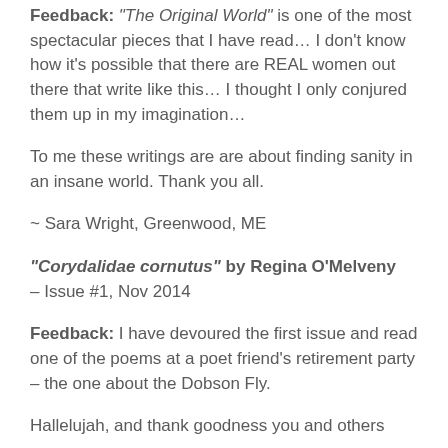Feedback: "The Original World" is one of the most spectacular pieces that I have read… I don't know how it's possible that there are REAL women out there that write like this… I thought I only conjured them up in my imagination…
To me these writings are are about finding sanity in an insane world. Thank you all.
~ Sara Wright, Greenwood, ME
“Corydalidae cornutus” by Regina O’Melveny – Issue #1, Nov 2014
Feedback: I have devoured the first issue and read one of the poems at a poet friend’s retirement party – the one about the Dobson Fly.
Hallelujah, and thank goodness you and others